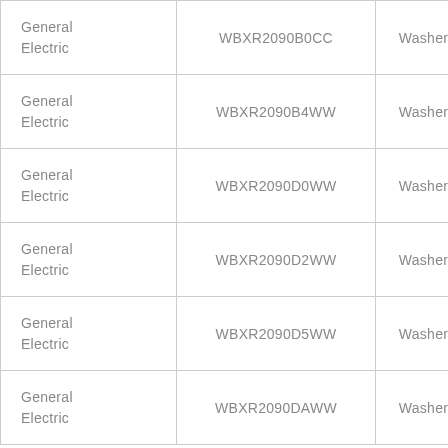| General Electric | WBXR2090B0CC | Washer |
| General Electric | WBXR2090B4WW | Washer |
| General Electric | WBXR2090D0WW | Washer |
| General Electric | WBXR2090D2WW | Washer |
| General Electric | WBXR2090D5WW | Washer |
| General Electric | WBXR2090DAWW | Washer |